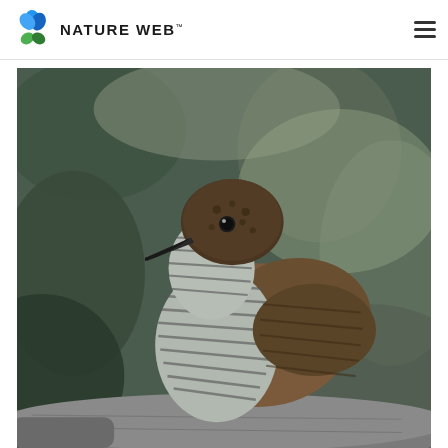NATURE WEB
[Figure (photo): Close-up photograph of a bird (wren or similar small bird) with a dark brown cap, blue-grey barred/striped plumage on its chest and neck, perched on a branch or log. The background is blurred green and grey bokeh.]